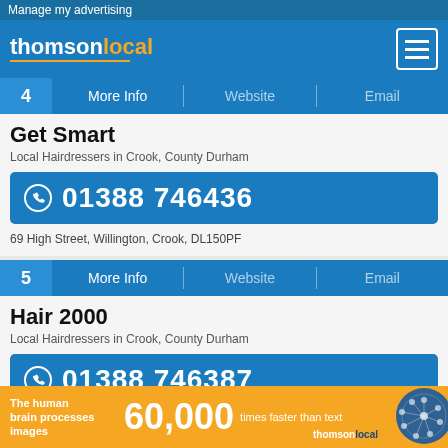Manage my advertising
[Figure (logo): Thomson Local logo with orange 'local' text and underline, and hamburger menu icon]
4  More Info  |  Website  |  Email
Get Smart
Local Hairdressers in Crook, County Durham
01388 746436
69 High Street, Willington, Crook, DL150PF
5  More Info  |  Website  |  Email
Hair 2000
Local Hairdressers in Crook, County Durham
01388 746387
The human brain processes images  60,000  times faster than text